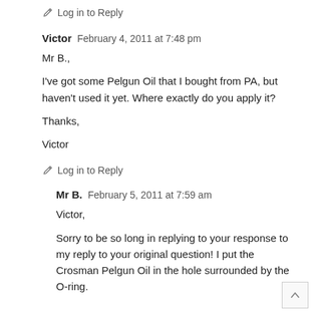Log in to Reply
Victor  February 4, 2011 at 7:48 pm
Mr B.,
I've got some Pelgun Oil that I bought from PA, but haven't used it yet. Where exactly do you apply it?
Thanks,
Victor
Log in to Reply
Mr B.  February 5, 2011 at 7:59 am
Victor,
Sorry to be so long in replying to your response to my reply to your original question! I put the Crosman Pelgun Oil in the hole surrounded by the O-ring.